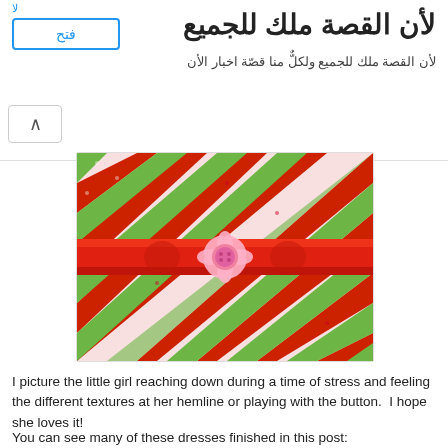لأن القصة ملك للجميع
لأن القصة ملك للجميع ولكلٌّ منا قصّة اخبار الأن
[Figure (photo): Colorful patchwork fabric with red, green, pink and white chevron pattern, decorated with a red satin ribbon across the middle and a pink flower button in the center.]
I picture the little girl reaching down during a time of stress and feeling the different textures at her hemline or playing with the button.  I hope she loves it!
You can see many of these dresses finished in this post: